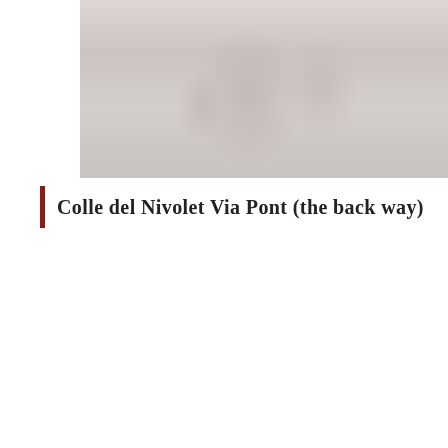[Figure (photo): Faded vintage photograph showing a person with a bicycle on rocky terrain, with vegetation in the background]
Colle del Nivolet Via Pont (the back way)
[Figure (photo): Faded alpine landscape photograph showing a mountain road or path with rocky terrain and sky, with a red rating badge showing 9.6 in the bottom right corner]